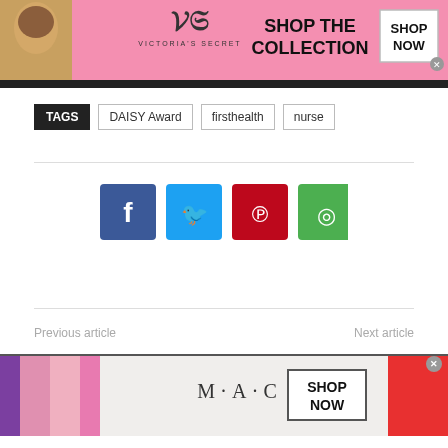[Figure (advertisement): Victoria's Secret banner ad with model, logo, 'SHOP THE COLLECTION' text, and 'SHOP NOW' button on pink background]
TAGS   DAISY Award   firsthealth   nurse
[Figure (infographic): Social sharing buttons: Facebook (blue), Twitter (cyan), Pinterest (red), WhatsApp (green)]
Previous article
Next article
[Figure (advertisement): MAC cosmetics banner ad with lipsticks, MAC logo, and 'SHOP NOW' button]